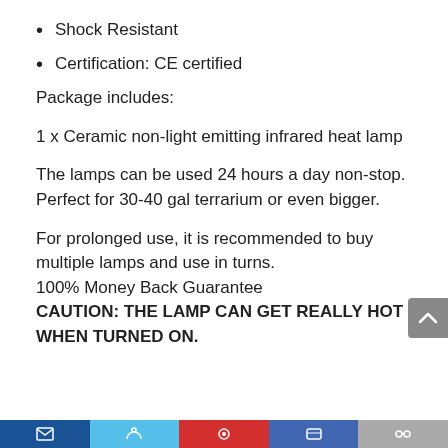Shock Resistant
Certification: CE certified
Package includes:
1 x Ceramic non-light emitting infrared heat lamp
The lamps can be used 24 hours a day non-stop. Perfect for 30-40 gal terrarium or even bigger.
For prolonged use, it is recommended to buy multiple lamps and use in turns.
100% Money Back Guarantee
CAUTION: THE LAMP CAN GET REALLY HOT WHEN TURNED ON.